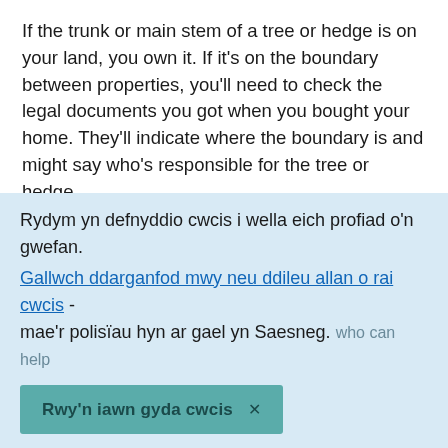If the trunk or main stem of a tree or hedge is on your land, you own it. If it's on the boundary between properties, you'll need to check the legal documents you got when you bought your home. They'll indicate where the boundary is and might say who's responsible for the tree or hedge.
You can buy the documents from the Land Registry [external link] if you don't have them - it only costs a few pounds. It might be a good idea to buy the documents for your neighbour's house too - they might give information
Rydym yn defnyddio cwcis i wella eich profiad o'n gwefan. Gallwch ddarganfod mwy neu ddileu allan o rai cwcis - mae'r polisïau hyn ar gael yn Saesneg.
Rwy'n iawn gyda cwcis ×